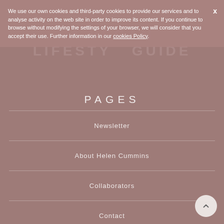We use our own cookies and third-party cookies to provide our services and to analyse activity on the web site in order to improve its content. If you continue to browse without modifying the settings of your browser, we will consider that you accept their use. Further information in our cookies Policy.
A VEGAN LIFESTYLE GUIDE
PAGES
Newsletter
About Helen Cummins
Collaborators
Contact
Privacy Policy